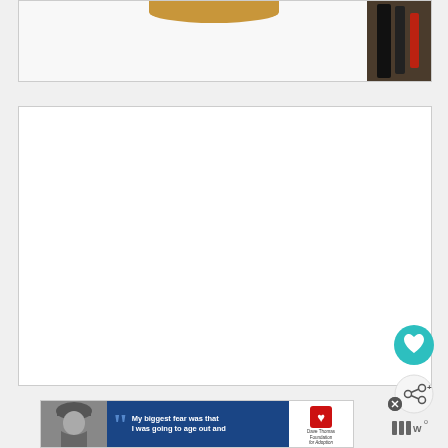[Figure (photo): Partial view of a woodworking/craft project photo strip at top, showing a white surface with tan/orange curved object and a tool section on the right with dark and red-handled tools on a wooden background]
[Figure (photo): Large white blank content area, likely an article body image placeholder or white photo]
[Figure (other): Teal circular heart/favorite button icon on right side]
[Figure (other): Grey circular share button icon on right side]
[Figure (other): Advertisement banner: Dave Thomas Foundation for Adoption ad with quote 'My biggest fear was that I was going to age out and' alongside image of person in winter hat]
[Figure (logo): Merriam-Webster style logo with superscript at bottom right]